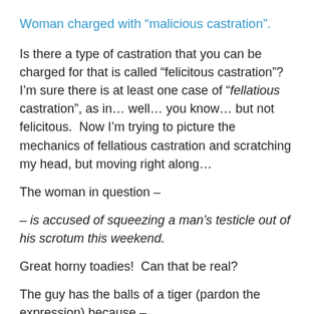Woman charged with “malicious castration”.
Is there a type of castration that you can be charged for that is called “felicitous castration”?  I’m sure there is at least one case of “fellatious castration”, as in… well… you know… but not felicitous.  Now I’m trying to picture the mechanics of fellatious castration and scratching my head, but moving right along…
The woman in question –
– is accused of squeezing a man’s testicle out of his scrotum this weekend.
Great horny toadies!  Can that be real?
The guy has the balls of a tiger (pardon the expression) because –